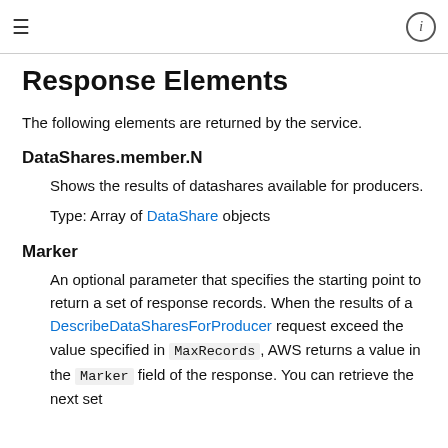≡  ⓘ
Response Elements
The following elements are returned by the service.
DataShares.member.N
Shows the results of datashares available for producers.
Type: Array of DataShare objects
Marker
An optional parameter that specifies the starting point to return a set of response records. When the results of a DescribeDataSharesForProducer request exceed the value specified in MaxRecords, AWS returns a value in the Marker field of the response. You can retrieve the next set